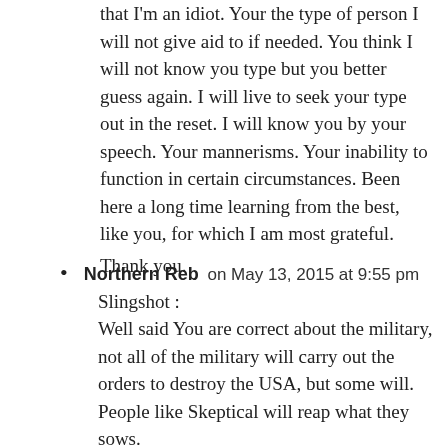that I'm an idiot. Your the type of person I will not give aid to if needed. You think I will not know you type but you better guess again. I will live to seek your type out in the reset. I will know you by your speech. Your mannerisms. Your inability to function in certain circumstances. Been here a long time learning from the best, like you, for which I am most grateful.
Thank you.
Northern Reb on May 13, 2015 at 9:55 pm
Slingshot :
Well said You are correct about the military, not all of the military will carry out the orders to destroy the USA, but some will. People like Skeptical will reap what they sows.
Skeptical;
I'm not the brightest light on, in the lamp, but I'm no idiot. I received my degree from the